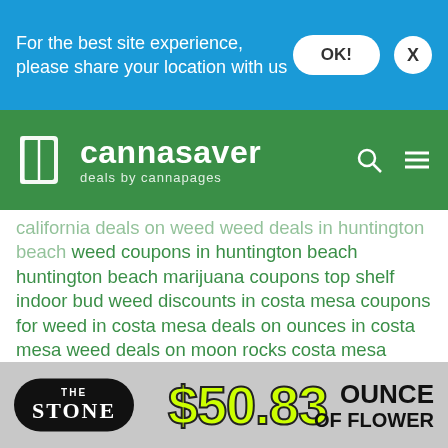For the best site experience, please share your location with us
[Figure (logo): Cannasaver - deals by cannapages logo with book icon on green header bar]
california deals on weed weed deals in huntington beach weed coupons in huntington beach huntington beach marijuana coupons top shelf indoor bud weed discounts in costa mesa coupons for weed in costa mesa deals on ounces in costa mesa weed deals on moon rocks costa mesa marijuana delivery service dispensary deals today dispensary deals for denver tourists denver dispensary deals marijuana deals for tourists dispensary discounts for tourists ounce deals in colorado springs co springs dispensary weed deals colorado springs medical marijuana coupons deals on weed in colorado springs discounts on marijuana in colorado springs lake forest california lake forest ftp deals lake forest top shelf deals lake forest weed deals find a deal on weed mission viejo
[Figure (infographic): The Stone dispensary advertisement banner: oval black logo with THE STONE text, large yellow-green $50.83 price, OUNCE OF FLOWER text]